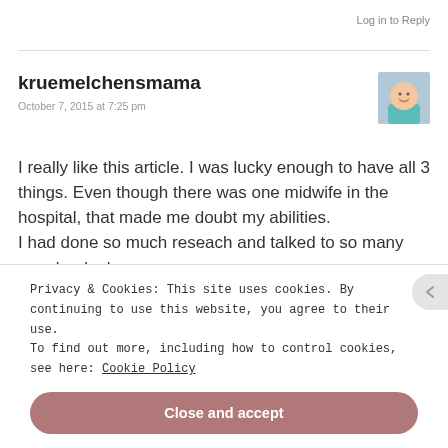Log in to Reply
kruemelchensmama
October 7, 2015 at 7:25 pm
[Figure (photo): Avatar photo of a baby smiling, wearing a teal/turquoise outfit]
I really like this article. I was lucky enough to have all 3 things. Even though there was one midwife in the hospital, that made me doubt my abilities.
I had done so much reseach and talked to so many people, doulas,
Privacy & Cookies: This site uses cookies. By continuing to use this website, you agree to their use.
To find out more, including how to control cookies, see here: Cookie Policy
Close and accept